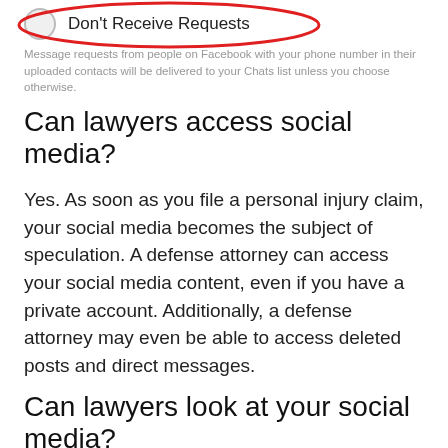[Figure (screenshot): Mobile app UI element showing a radio button labeled 'Don't Receive Requests' circled in red, with a description text beneath it about message requests from Facebook contacts.]
Message requests from people on Facebook with your phone number in their uploaded contacts will be delivered to your Chats list unless you choose otherwise.
Can lawyers access social media?
Yes. As soon as you file a personal injury claim, your social media becomes the subject of speculation. A defense attorney can access your social media content, even if you have a private account. Additionally, a defense attorney may even be able to access deleted posts and direct messages.
Can lawyers look at your social media?